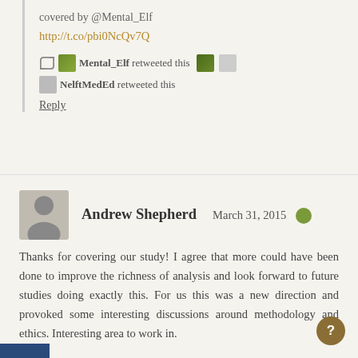[Figure (other): Hamburger menu icon (three horizontal bars)]
covered by @Mental_Elf http://t.co/pbi0NcQv7Q
Mental_Elf retweeted this
NelftMedEd retweeted this
Reply
Andrew Shepherd   March 31, 2015
Thanks for covering our study! I agree that more could have been done to improve the richness of analysis and look forward to future studies doing exactly this. For us this was a new direction and provoked some interesting discussions around methodology and ethics. Interesting area to work in.
Reply